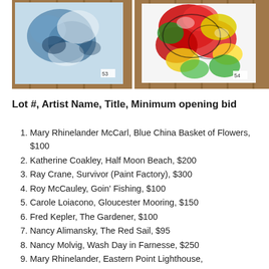[Figure (photo): Two paintings on a wooden wall. Left: abstract blue and white painting labeled 53. Right: colorful abstract painting with red, yellow, green on white background labeled 54.]
Lot #, Artist Name, Title, Minimum opening bid
Mary Rhinelander McCarl, Blue China Basket of Flowers, $100
Katherine Coakley, Half Moon Beach, $200
Ray Crane, Survivor (Paint Factory), $300
Roy McCauley, Goin' Fishing, $100
Carole Loiacono, Gloucester Mooring, $150
Fred Kepler, The Gardener, $100
Nancy Alimansky, The Red Sail, $95
Nancy Molvig, Wash Day in Farnesse, $250
Mary Rhinelander, Eastern Point Lighthouse,